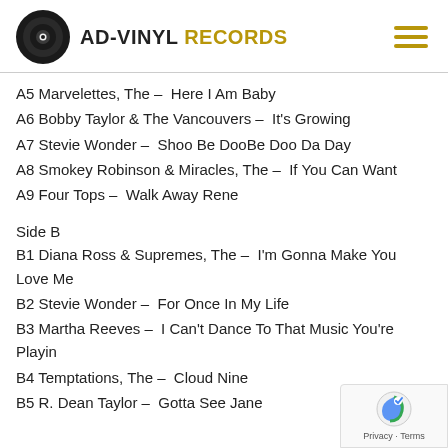AD-VINYL RECORDS
A5 Marvelettes, The – Here I Am Baby
A6 Bobby Taylor & The Vancouvers – It's Growing
A7 Stevie Wonder – Shoo Be DooBe Doo Da Day
A8 Smokey Robinson & Miracles, The – If You Can Want
A9 Four Tops – Walk Away Rene
Side B
B1 Diana Ross & Supremes, The – I'm Gonna Make You Love Me
B2 Stevie Wonder – For Once In My Life
B3 Martha Reeves – I Can't Dance To That Music You're Playin
B4 Temptations, The – Cloud Nine
B5 R. Dean Taylor – Gotta See Jane